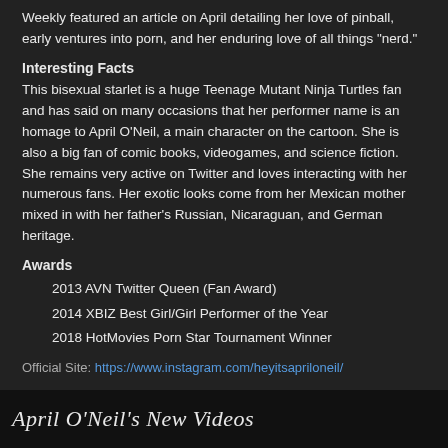Weekly featured an article on April detailing her love of pinball, early ventures into porn, and her enduring love of all things "nerd."
Interesting Facts
This bisexual starlet is a huge Teenage Mutant Ninja Turtles fan and has said on many occasions that her performer name is an homage to April O'Neil, a main character on the cartoon. She is also a big fan of comic books, videogames, and science fiction. She remains very active on Twitter and loves interacting with her numerous fans. Her exotic looks come from her Mexican mother mixed in with her father's Russian, Nicaraguan, and German heritage.
Awards
2013 AVN Twitter Queen (Fan Award)
2014 XBIZ Best Girl/Girl Performer of the Year
2018 HotMovies Porn Star Tournament Winner
Official Site: https://www.instagram.com/heyitsapriloneil/
April O'Neil's New Videos